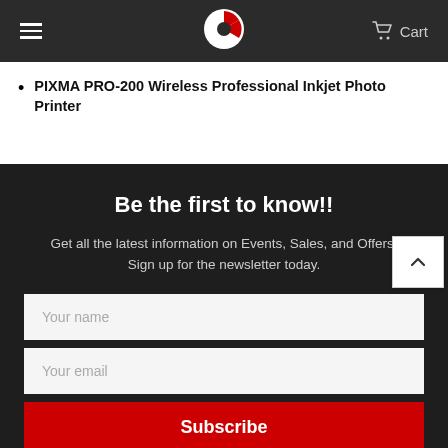Cart
PIXMA PRO-200 Wireless Professional Inkjet Photo Printer
Be the first to know!!
Get all the latest information on Events, Sales, and Offers. Sign up for the newsletter today.
Your name
Your email
Subscribe
Follow us